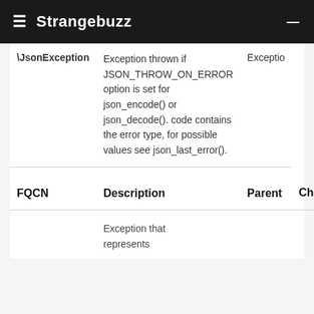☰ Strangebuzz —
| FQCN | Description | Parent | Children |
| --- | --- | --- | --- |
| \JsonException | Exception thrown if JSON_THROW_ON_ERROR option is set for json_encode() or json_decode(). code contains the error type, for possible values see json_last_error(). | Exceptio |  |
| FQCN | Description | Parent | Children |
|  | Exception that represents |  |  |